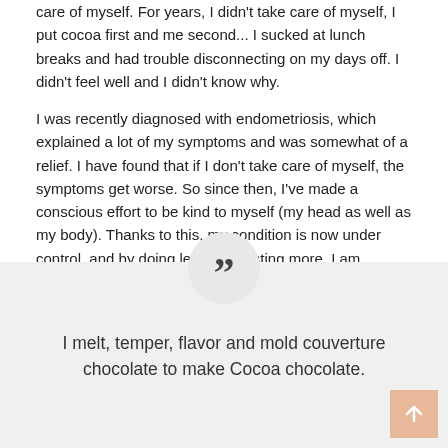care of myself. For years, I didn't take care of myself, I put cocoa first and me second... I sucked at lunch breaks and had trouble disconnecting on my days off. I didn't feel well and I didn't know why.
I was recently diagnosed with endometriosis, which explained a lot of my symptoms and was somewhat of a relief. I have found that if I don't take care of myself, the symptoms get worse. So since then, I've made a conscious effort to be kind to myself (my head as well as my body). Thanks to this, my condition is now under control, and by doing less and resting more, I am actually more productive than before!
I melt, temper, flavor and mold couverture chocolate to make Cocoa chocolate.